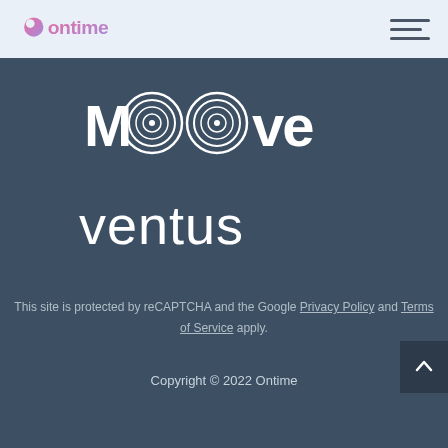[Figure (logo): Ontime logo in pink/purple gradient with circular dot and text]
[Figure (logo): Moove logo in white with circular concentric ring design]
[Figure (logo): Ventus logo in white lowercase sans-serif text]
This site is protected by reCAPTCHA and the Google Privacy Policy and Terms of Service apply.
Copyright © 2022 Ontime